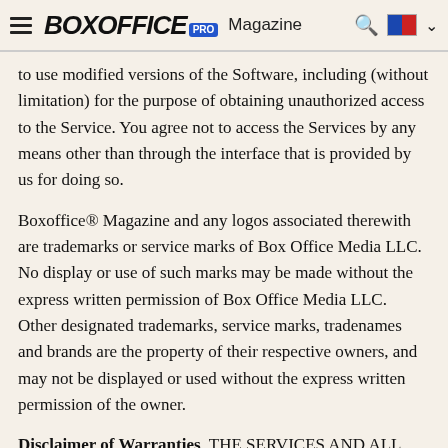Boxoffice PRO Magazine
to use modified versions of the Software, including (without limitation) for the purpose of obtaining unauthorized access to the Service. You agree not to access the Services by any means other than through the interface that is provided by us for doing so.
Boxoffice® Magazine and any logos associated therewith are trademarks or service marks of Box Office Media LLC. No display or use of such marks may be made without the express written permission of Box Office Media LLC.  Other designated trademarks, service marks, tradenames and brands are the property of their respective owners, and may not be displayed or used without the express written permission of the owner.
Disclaimer of Warranties. THE SERVICES AND ALL INFORMATION MADE AVAILABLE, ARE PROVIDED ON AN "AS